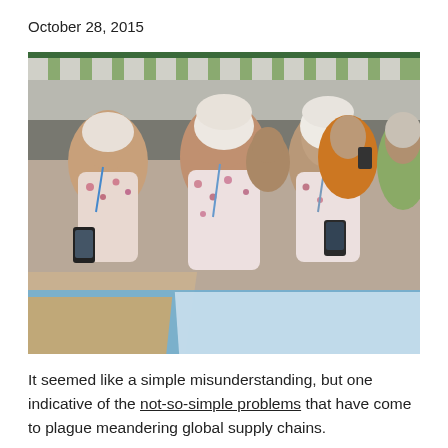October 28, 2015
[Figure (photo): Group of women in floral uniforms and white head coverings looking at smartphones, inside a tent or temporary structure with striped green canopy. Other people visible in background also on phones.]
It seemed like a simple misunderstanding, but one indicative of the not-so-simple problems that have come to plague meandering global supply chains.